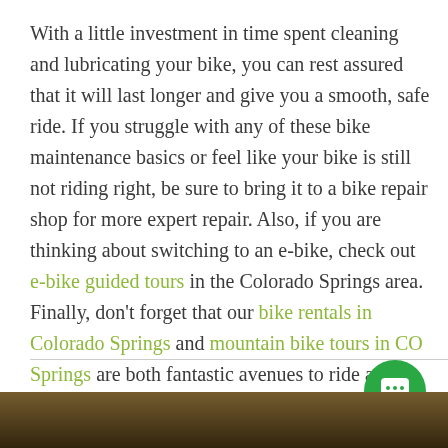With a little investment in time spent cleaning and lubricating your bike, you can rest assured that it will last longer and give you a smooth, safe ride. If you struggle with any of these bike maintenance basics or feel like your bike is still not riding right, be sure to bring it to a bike repair shop for more expert repair. Also, if you are thinking about switching to an e-bike, check out e-bike guided tours in the Colorado Springs area. Finally, don't forget that our bike rentals in Colorado Springs and mountain bike tours in CO Springs are both fantastic avenues to ride a clean and perfectly maintained bike. Happy riding!
[Figure (photo): Photo strip at the bottom of the page showing what appears to be a close-up of a bicycle chain or mechanical components]